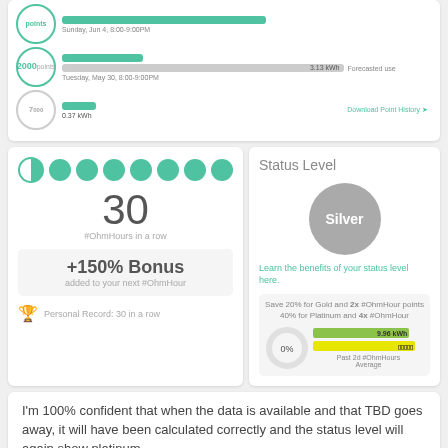[Figure (infographic): OhmHour stats panel showing energy usage bars: Sunday Jun 4 8:00-9:00PM with 0.75 kWh green bar, and Tuesday May 30 8:00-9:00PM with 3.13 kWh forecasted use gray bar. A 2000 points badge is shown. Also a 7000 points partial badge with 0.37 kWh bar. Download Point History link at bottom right.]
[Figure (infographic): Left card showing 8 dots (moon/circles), number 30, #OhmHours in a row, +150% Bonus added to your next #OhmHour, Personal Record: 30 in a row with trophy icon.]
[Figure (infographic): Right card showing Status Level header, Silver circle badge, text about learning benefits, promo box with Save 20% for Gold and 2x #OhmHour points, 40% for Platinum and 4x #OhmHour, mini donut chart showing 0%, green bar 9.96 kWh, yellow bar, Past 2d #OhmHours Average label.]
I'm 100% confident that when the data is available and that TBD goes away, it will have been calculated correctly and the status level will again show platinum.
UkiwiS